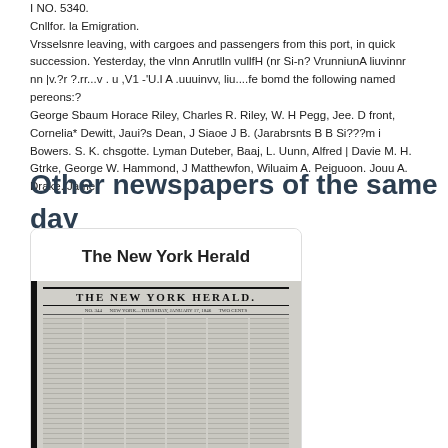I NO. 5340.
Cnllfor. la Emigration.
Vrsselsnre leaving, with cargoes and passengers from this port, in quick succession. Yesterday, the vlnn Anrutlln vullfH (nr Si-n? VrunniunA liuvinnr nn |v.?r ?.rr...v . u ,V1 -'U.I A .uuuinvv, liu....fe bomd the following named pereons:?
George Sbaum Horace Riley, Charles R. Riley, W. H Pegg, Jee. D front, Cornelia* Dewitt, Jaui?s Dean, J Siaoe J B. (Jarabrsnts B B Si???m i Bowers. S. K. chsgotte. Lyman Duteber, Baaj, L. Uunn, Alfred | Davie M. H. Gtrke, George W. Hammond, J Matthewfon, Wiluaim A. Peiguoon. Jouu A. Drake. Jamei
Other newspapers of the same day
[Figure (other): Card showing 'The New York Herald' newspaper with title text and a thumbnail image of The New York Herald newspaper front page, showing the masthead 'THE NEW YORK HERALD' and columns of text.]